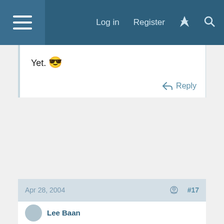Log in  Register
Yet. 😎
Reply
Apr 28, 2004  #17